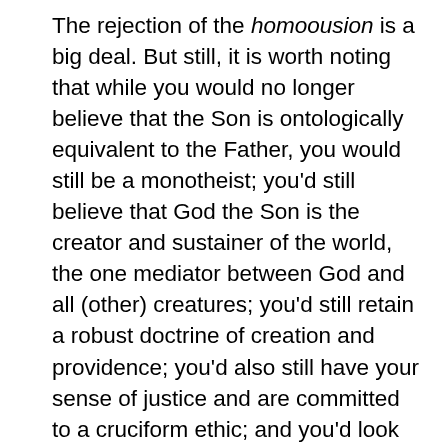The rejection of the homoousion is a big deal. But still, it is worth noting that while you would no longer believe that the Son is ontologically equivalent to the Father, you would still be a monotheist; you'd still believe that God the Son is the creator and sustainer of the world, the one mediator between God and all (other) creatures; you'd still retain a robust doctrine of creation and providence; you'd also still have your sense of justice and are committed to a cruciform ethic; and you'd look forward to a doctrine of future resurrection, posthumous judgment for those outside Christ, and the redemption of creation. Based on this extensive list of doctrines, what could justify Torrance's claim to that loss of the homoousion would lead